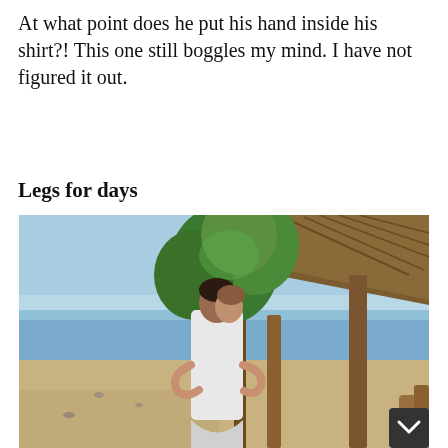At what point does he put his hand inside his shirt?! This one still boggles my mind. I have not figured it out.
Legs for days
[Figure (photo): Two people embracing near a beach. A thatched-roof hut and a tree are visible in the background. Sandy shore and ocean water visible behind them. Blue sky above.]